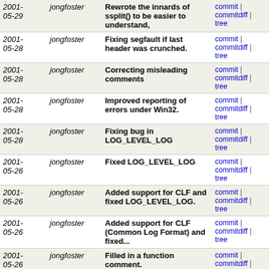| Date | Author | Message | Links |
| --- | --- | --- | --- |
| 2001-05-29 | jongfoster | Rewrote the innards of ssplit() to be easier to understand, | commit | commitdiff | tree |
| 2001-05-28 | jongfoster | Fixing segfault if last header was crunched. | commit | commitdiff | tree |
| 2001-05-28 | jongfoster | Correcting misleading comments | commit | commitdiff | tree |
| 2001-05-28 | jongfoster | Improved reporting of errors under Win32. | commit | commitdiff | tree |
| 2001-05-28 | jongfoster | Fixing bug in LOG_LEVEL_LOG | commit | commitdiff | tree |
| 2001-05-26 | jongfoster | Fixed LOG_LEVEL_LOG | commit | commitdiff | tree |
| 2001-05-26 | jongfoster | Added support for CLF and fixed LOG_LEVEL_LOG. | commit | commitdiff | tree |
| 2001-05-26 | jongfoster | Added support for CLF (Common Log Format) and fixed... | commit | commitdiff | tree |
| 2001-05-26 | jongfoster | Filled in a function comment. | commit | commitdiff | tree |
| 2001-05-26 | jongfoster | Fatal errors loading configuration files now give better... | commit | commitdiff | tree |
| 2001-05-26 | jongfoster | ACL feature now provides more security by immediately... | commit | commitdiff | tree |
| 2001-05-26 | jongfoster | Activity animation in Win32 GUI now works even if debug==0 | commit | commitdiff | tree |
| 2001-05-26 | jongfoster | Cosmetic fix: // -> block comment | commit | commitdiff | tree |
| 2001-05-26 | jongfoster | Only crunches Content-Length | commit | commitdiff | tree |